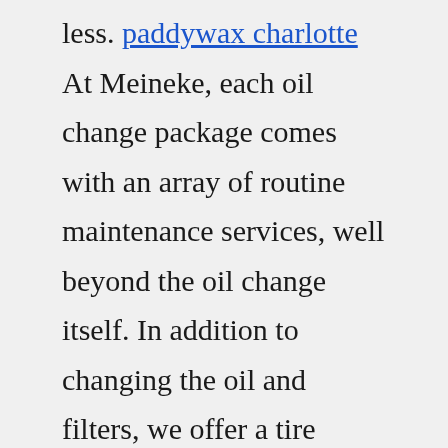less. paddywax charlotte At Meineke, each oil change package comes with an array of routine maintenance services, well beyond the oil change itself. In addition to changing the oil and filters, we offer a tire pressure check, a fluid top-off, a free tire rotation, visual brake checks, and a 23-point inspection for your vehicle. Q : What type of oil does my car need ... Dempsey Dodge Chrysler Jeep II (10) Write a Review! New Car Dealers, Auto Repair & Service, Used